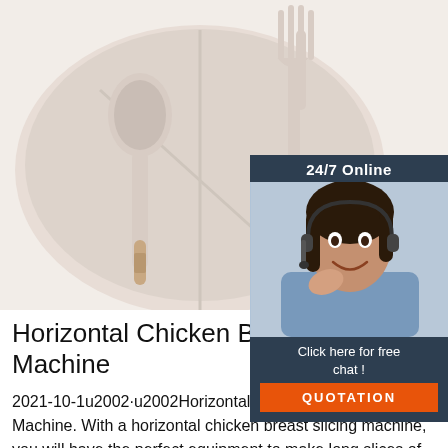[Figure (photo): Product photo of silicone baby feeding set with plate, spoon and fork with wooden handles, on white background]
[Figure (photo): 24/7 Online chat widget with photo of a female customer service representative wearing a headset, smiling, with 'Click here for free chat!' text and an orange QUOTATION button]
Horizontal Chicken Breast Slicing Machine
2021-10-1u2002·u2002Horizontal Chicken Breast Slicing Machine. With a horizontal chicken breast slicing machine, you will have the perfect equipment to make long slices of fresh chicken breast fillets with proper shape in no time. The capacity of the slicing process depends on...